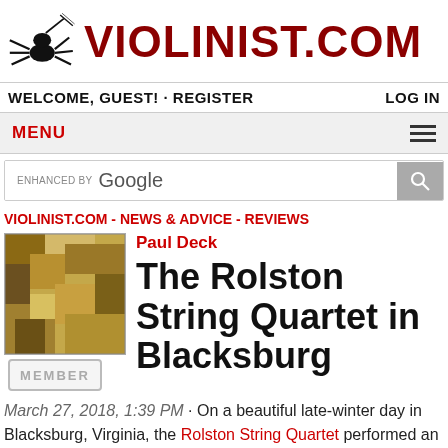[Figure (logo): Violinist.com logo with spider playing violin and large dark red text VIOLINIST.COM]
WELCOME, GUEST! · REGISTER    LOG IN
MENU
[Figure (other): Search bar with 'enhanced by Google' text and search button]
VIOLINIST.COM - NEWS & ADVICE - REVIEWS
Paul Deck
[Figure (photo): Thumbnail painting with abstract geometric blocks in brown and tan tones]
The Rolston String Quartet in Blacksburg
March 27, 2018, 1:39 PM · On a beautiful late-winter day in Blacksburg, Virginia, the Rolston String Quartet performed an